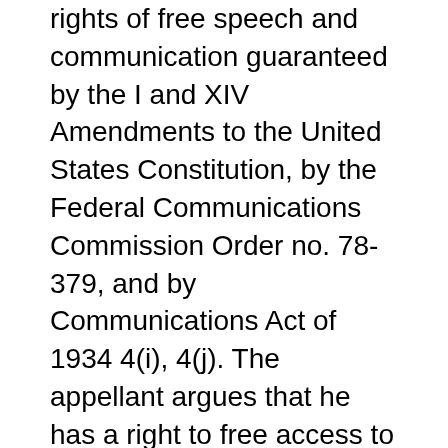rights of free speech and communication guaranteed by the I and XIV Amendments to the United States Constitution, by the Federal Communications Commission Order no. 78-379, and by Communications Act of 1934 4(i), 4(j). The appellant argues that he has a right to free access to the public information transmitted from the satellite, and that the forced removal of his antenna deprives him of his right.
The City is not regulating the content of this medium or whether Mr. Gouge may receive this medium; instead, it is regulating the noncommunicative aspect of the medium, i.e., where